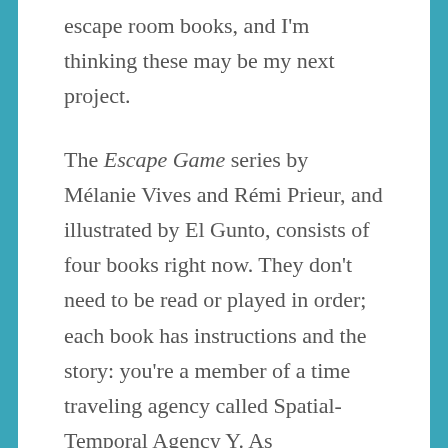escape room books, and I'm thinking these may be my next project.
The Escape Game series by Mélanie Vives and Rémi Prieur, and illustrated by El Gunto, consists of four books right now. They don't need to be read or played in order; each book has instructions and the story: you're a member of a time traveling agency called Spatial-Temporal Agency Y. As